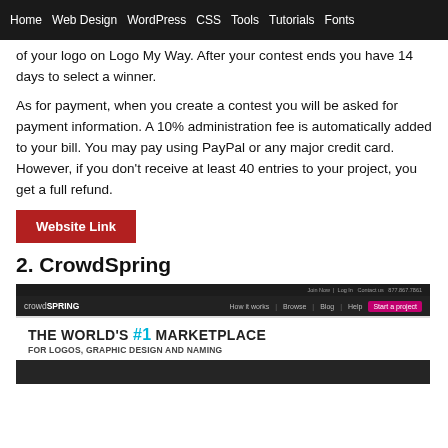Home | Web Design | WordPress | CSS | Tools | Tutorials | Fonts
of your logo on Logo My Way. After your contest ends you have 14 days to select a winner.
As for payment, when you create a contest you will be asked for payment information. A 10% administration fee is automatically added to your bill. You may pay using PayPal or any major credit card. However, if you don't receive at least 40 entries to your project, you get a full refund.
Website Link
2. CrowdSpring
[Figure (screenshot): Screenshot of the CrowdSpring website showing the header navigation with logo and 'Start a project' button, and the hero text 'THE WORLD'S #1 MARKETPLACE FOR LOGOS, GRAPHIC DESIGN AND NAMING']